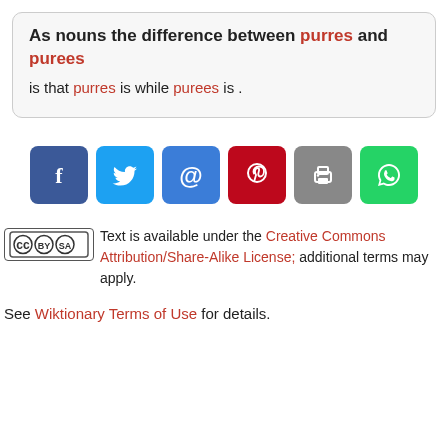As nouns the difference between purres and purees is that purres is while purees is .
[Figure (other): Social sharing buttons: Facebook, Twitter, Email, Pinterest, Print, WhatsApp]
Text is available under the Creative Commons Attribution/Share-Alike License; additional terms may apply.
See Wiktionary Terms of Use for details.